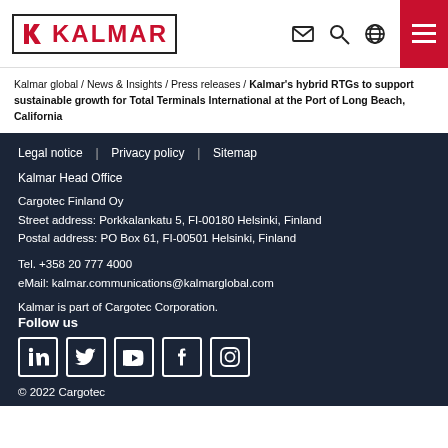Kalmar logo and navigation header
Kalmar global / News & Insights / Press releases / Kalmar's hybrid RTGs to support sustainable growth for Total Terminals International at the Port of Long Beach, California
Legal notice | Privacy policy | Sitemap
Kalmar Head Office
Cargotec Finland Oy
Street address: Porkkalankatu 5, FI-00180 Helsinki, Finland
Postal address: PO Box 61, FI-00501 Helsinki, Finland
Tel. +358 20 777 4000
eMail: kalmar.communications@kalmarglobal.com
Kalmar is part of Cargotec Corporation.
Follow us
[Figure (illustration): Social media icons: LinkedIn, Twitter, YouTube, Facebook, Instagram]
© 2022 Cargotec